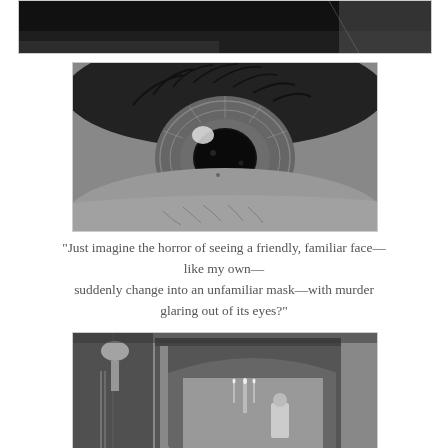[Figure (photo): Top partial black and white film still, cropped — dark tones, shows upper edge of a scene]
[Figure (photo): Close-up black and white film still of a human eye, extreme macro shot showing iris, pupil, and eyelashes in detail]
"Just imagine the horror of seeing a friendly, familiar face—like my own—suddenly change into an unfamiliar mask—with murder glaring out of its eyes?"
[Figure (photo): Black and white film still showing an ornate interior room with a doorway/archway, candelabra, hanging beads, and a figure visible through the arch]